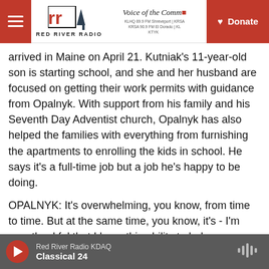Red River Radio — Voice of the Community — KLHQ 89.9 FM Shreveport | KRSA 90.9 FM El Dorado | KTYK — Donate
arrived in Maine on April 21. Kutniak's 11-year-old son is starting school, and she and her husband are focused on getting their work permits with guidance from Opalnyk. With support from his family and his Seventh Day Adventist church, Opalnyk has also helped the families with everything from furnishing the apartments to enrolling the kids in school. He says it's a full-time job but a job he's happy to be doing.
OPALNYK: It's overwhelming, you know, from time to time. But at the same time, you know, it's - I'm very thankful that I have this ability to help.
Red River Radio KDAQ — Classical 24